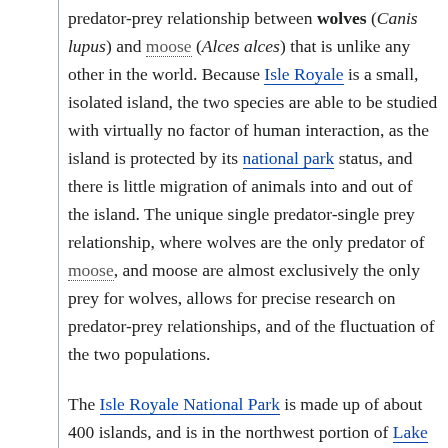predator-prey relationship between wolves (Canis lupus) and moose (Alces alces) that is unlike any other in the world. Because Isle Royale is a small, isolated island, the two species are able to be studied with virtually no factor of human interaction, as the island is protected by its national park status, and there is little migration of animals into and out of the island. The unique single predator-single prey relationship, where wolves are the only predator of moose, and moose are almost exclusively the only prey for wolves, allows for precise research on predator-prey relationships, and of the fluctuation of the two populations.
The Isle Royale National Park is made up of about 400 islands, and is in the northwest portion of Lake Superior. It is about 50 miles (80 km) from